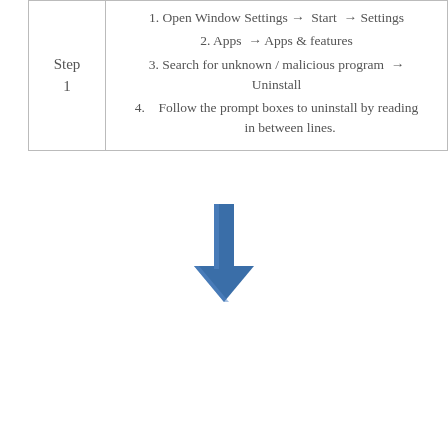| Step | Instructions |
| --- | --- |
| Step 1 | 1. Open Window Settings → Start → Settings
2. Apps → Apps & features
3. Search for unknown / malicious program → Uninstall
4. Follow the prompt boxes to uninstall by reading in between lines. |
[Figure (illustration): A blue downward-pointing arrow indicating progression to the next step.]
| Step | Instructions |
| --- | --- |
| Step 2 | To remove Adware and Chrome Browser Hijackers Imply Malware-bytes
1. Download the Malware-bytes for windows
2.Click on MBSetup → Install malware-bytes
3. Follow all the prompt boxes to complete the installation |